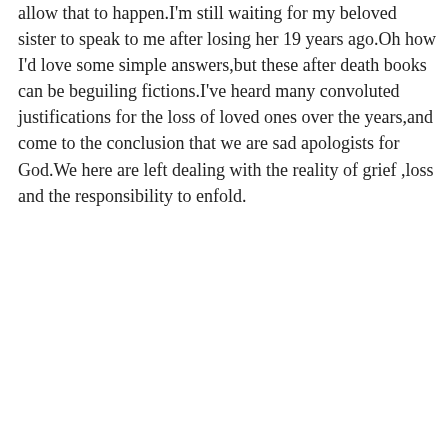allow that to happen.I'm still waiting for my beloved sister to speak to me after losing her 19 years ago.Oh how I'd love some simple answers,but these after death books can be beguiling fictions.I've heard many convoluted justifications for the loss of loved ones over the years,and come to the conclusion that we are sad apologists for God.We here are left dealing with the reality of grief ,loss and the responsibility to enfold.
Privacy & Cookies: This site uses cookies. By continuing to use this website, you agree to their use.
To find out more, including how to control cookies, see here: Cookie Policy